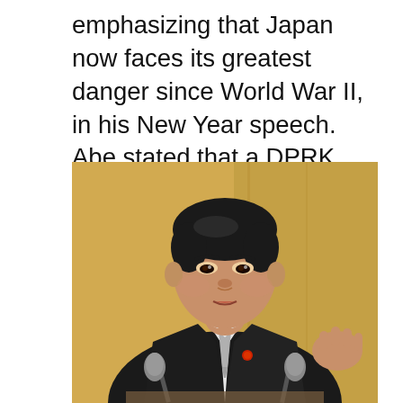emphasizing that Japan now faces its greatest danger since World War II, in his New Year speech. Abe stated that a DPRK armed with nuclear weapons is "unacceptable."
[Figure (photo): Photo of Prime Minister Shinzo Abe in a dark suit and silver tie, speaking at a podium with microphones, gesturing with his right hand, in front of a golden background panel.]